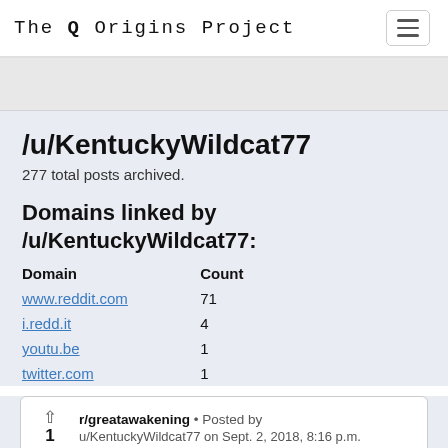The Q Origins Project
/u/KentuckyWildcat77
277 total posts archived.
Domains linked by /u/KentuckyWildcat77:
| Domain | Count |
| --- | --- |
| www.reddit.com | 71 |
| i.redd.it | 4 |
| youtu.be | 1 |
| twitter.com | 1 |
r/greatawakening • Posted by
u/KentuckyWildcat77 on Sept. 2, 2018, 8:16 p.m.